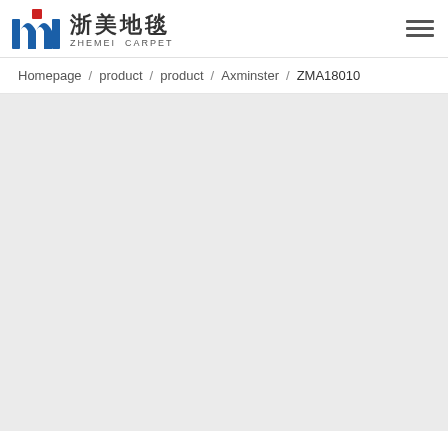浙美地毯 ZHEMEI CARPET
Homepage / product / product / Axminster / ZMA18010
[Figure (other): Large light grey empty content area below breadcrumb navigation]